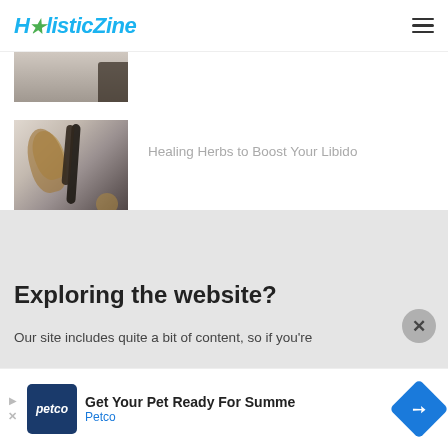HolisticZine
[Figure (photo): Partial view of a blurred lifestyle/wellness product photo at the top of a content listing]
[Figure (photo): Herbs and essential oil bottles on a white surface — illustrating an article about healing herbs]
Healing Herbs to Boost Your Libido
Exploring the website?
Our site includes quite a bit of content, so if you're
[Figure (screenshot): Petco advertisement banner: Get Your Pet Ready For Summer — Petco, with blue diamond arrow logo]